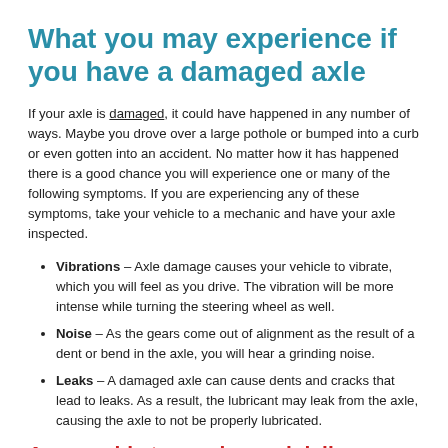What you may experience if you have a damaged axle
If your axle is damaged, it could have happened in any number of ways. Maybe you drove over a large pothole or bumped into a curb or even gotten into an accident. No matter how it has happened there is a good chance you will experience one or many of the following symptoms. If you are experiencing any of these symptoms, take your vehicle to a mechanic and have your axle inspected.
Vibrations – Axle damage causes your vehicle to vibrate, which you will feel as you drive. The vibration will be more intense while turning the steering wheel as well.
Noise – As the gears come out of alignment as the result of a dent or bend in the axle, you will hear a grinding noise.
Leaks – A damaged axle can cause dents and cracks that lead to leaks. As a result, the lubricant may leak from the axle, causing the axle to not be properly lubricated.
Are we able to receive and deliver axles to Eugene?